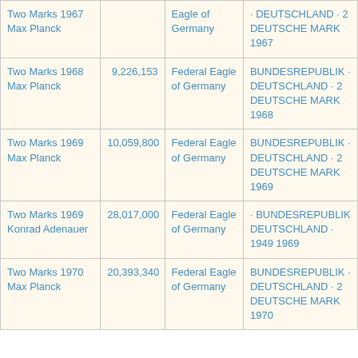| Name | Mintage | Obverse | Reverse |
| --- | --- | --- | --- |
| Two Marks 1967 Max Planck |  | Eagle of Germany | · DEUTSCHLAND · 2 DEUTSCHE MARK 1967 |
| Two Marks 1968 Max Planck | 9,226,153 | Federal Eagle of Germany | BUNDESREPUBLIK · DEUTSCHLAND · 2 DEUTSCHE MARK 1968 |
| Two Marks 1969 Max Planck | 10,059,800 | Federal Eagle of Germany | BUNDESREPUBLIK · DEUTSCHLAND · 2 DEUTSCHE MARK 1969 |
| Two Marks 1969 Konrad Adenauer | 28,017,000 | Federal Eagle of Germany | · BUNDESREPUBLIK DEUTSCHLAND · 1949 1969 |
| Two Marks 1970 Max Planck | 20,393,340 | Federal Eagle of Germany | BUNDESREPUBLIK · DEUTSCHLAND · 2 DEUTSCHE MARK 1970 |